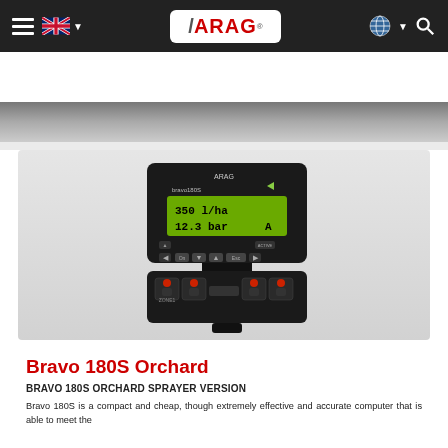ARAG navigation bar with hamburger menu, UK flag, ARAG logo, globe icon, and search icon
Furthermore, it is equipped with a sun visor that offers further protection against harsh UV rays and weather conditions. It features an IPX5 protection.
[Figure (photo): ARAG Bravo 180S Orchard sprayer computer device shown from above, with green LCD display showing '350 l/ha' and '12.3 bar A', control buttons and section control switches]
Bravo 180S Orchard
BRAVO 180S ORCHARD SPRAYER VERSION
Bravo 180S is a compact and cheap, though extremely effective and accurate computer that is able to meet the